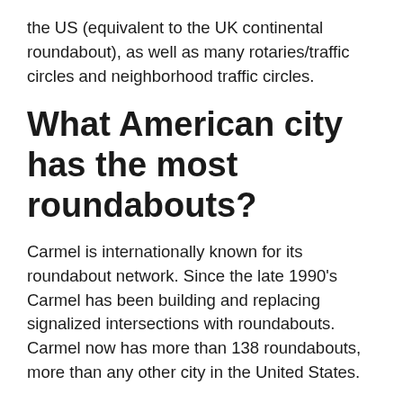the US (equivalent to the UK continental roundabout), as well as many rotaries/traffic circles and neighborhood traffic circles.
What American city has the most roundabouts?
Carmel is internationally known for its roundabout network. Since the late 1990’s Carmel has been building and replacing signalized intersections with roundabouts. Carmel now has more than 138 roundabouts, more than any other city in the United States.
Where in the UK has the most roundabouts?